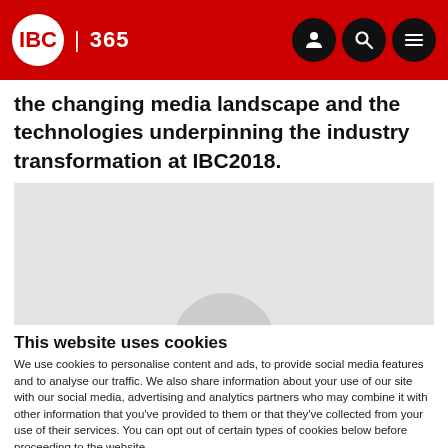IBC 365
the changing media landscape and the technologies underpinning the industry transformation at IBC2018.
[Figure (photo): Light grey placeholder image area with a partial circular shape visible at the bottom center]
This website uses cookies
We use cookies to personalise content and ads, to provide social media features and to analyse our traffic. We also share information about your use of our site with our social media, advertising and analytics partners who may combine it with other information that you've provided to them or that they've collected from your use of their services. You can opt out of certain types of cookies below before proceeding to the website.
Use necessary cookies only | Allow all cookies
Show details